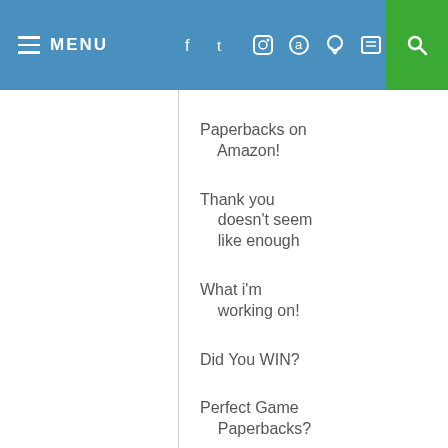MENU | social icons | search
Paperbacks on Amazon!
Thank you doesn't seem like enough
What i'm working on!
Did You WIN?
Perfect Game Paperbacks?
WOO HOO!!! YOU DID IT!!!!
You are awesome!
The Perfect Game and